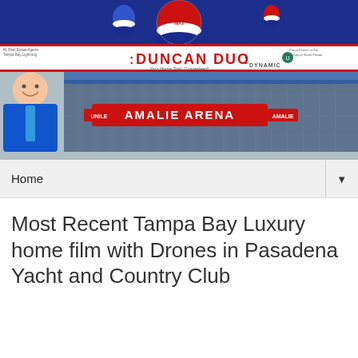[Figure (photo): Duncan Duo RE/MAX real estate agency header banner with blue background, RE/MAX hot air balloon logo, Duncan Duo branding bar, and Amalie Arena arena photo with a man in blue shirt on the left]
Home
Most Recent Tampa Bay Luxury home film with Drones in Pasadena Yacht and Country Club